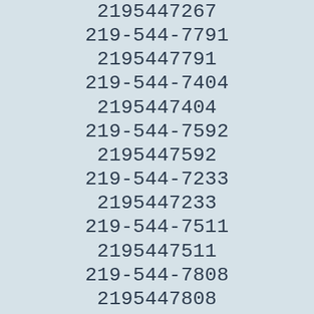2195447267
219-544-7791
2195447791
219-544-7404
2195447404
219-544-7592
2195447592
219-544-7233
2195447233
219-544-7511
2195447511
219-544-7808
2195447808
219-544-7542
2195447542
219-544-7496